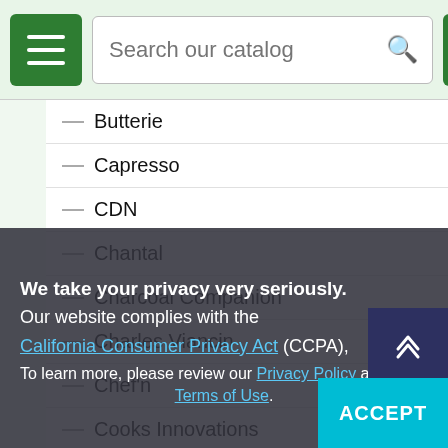Search our catalog
Butterie
Capresso
CDN
Chantal
Charcoal Companion
Charles Viancin
Chef'n
Cooks Innovations
Coravin
CorVe...
Cuisinart
Cuisipro
EdgeCraft
We take your privacy very seriously. Our website complies with the California Consumer Privacy Act (CCPA), To learn more, please review our Privacy Policy and Terms of Use.